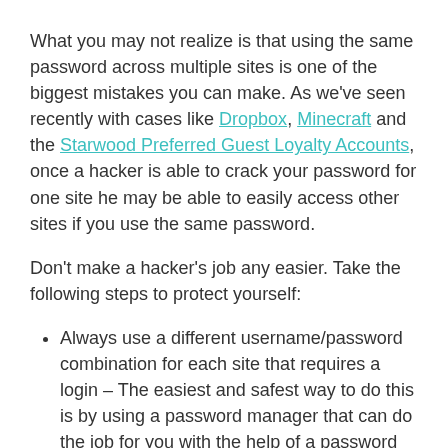What you may not realize is that using the same password across multiple sites is one of the biggest mistakes you can make. As we've seen recently with cases like Dropbox, Minecraft and the Starwood Preferred Guest Loyalty Accounts, once a hacker is able to crack your password for one site he may be able to easily access other sites if you use the same password.
Don't make a hacker's job any easier. Take the following steps to protect yourself:
Always use a different username/password combination for each site that requires a login – The easiest and safest way to do this is by using a password manager that can do the job for you with the help of a password generator.